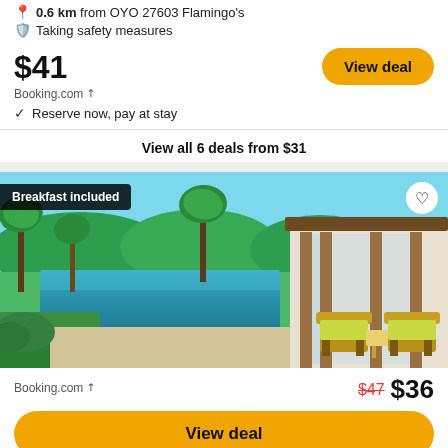0.6 km from OYO 27603 Flamingo s
Taking safety measures
$41
Booking.com ↗
View deal
✓ Reserve now, pay at stay
View all 6 deals from $31
[Figure (photo): Tropical resort hotel with an infinity pool surrounded by palm trees and lush greenery, outdoor seating area with wooden chairs and yellow-green cushions on the right side, bright blue sky in background]
Breakfast included
Booking.com ↗
$47  $36
View deal